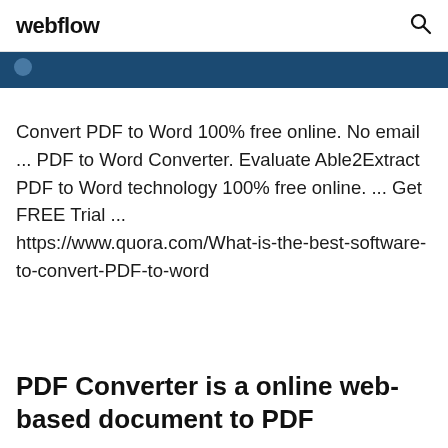webflow
Convert PDF to Word 100% free online. No email ... PDF to Word Converter. Evaluate Able2Extract PDF to Word technology 100% free online. ... Get FREE Trial ...
https://www.quora.com/What-is-the-best-software-to-convert-PDF-to-word
PDF Converter is a online web-based document to PDF